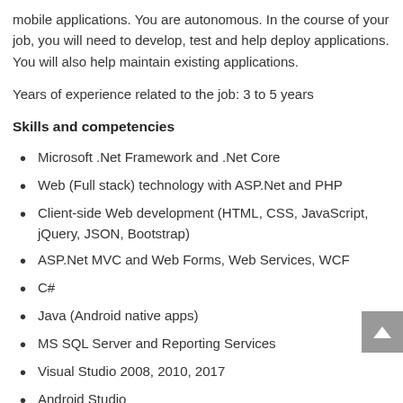mobile applications. You are autonomous. In the course of your job, you will need to develop, test and help deploy applications. You will also help maintain existing applications.
Years of experience related to the job: 3 to 5 years
Skills and competencies
Microsoft .Net Framework and .Net Core
Web (Full stack) technology with ASP.Net and PHP
Client-side Web development (HTML, CSS, JavaScript, jQuery, JSON, Bootstrap)
ASP.Net MVC and Web Forms, Web Services, WCF
C#
Java (Android native apps)
MS SQL Server and Reporting Services
Visual Studio 2008, 2010, 2017
Android Studio